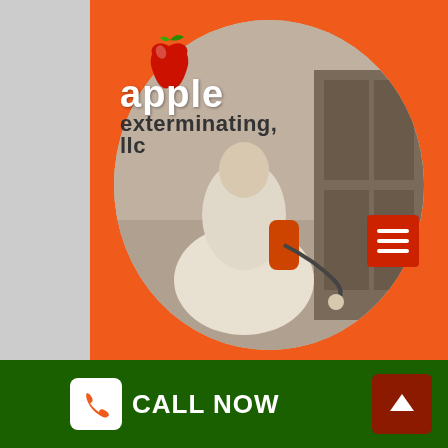[Figure (photo): Apple Exterminating LLC logo with red apple graphic and exterminator in white suit spraying in background, shown in circular crop on orange background with red hamburger menu button]
COMMERCIAL PEST CONTROL
Here at Apple Exterminating, we supply company operators with several different forms of service programs that are all centered on keeping your work environment safe as well as sanitary. No matter if you are
CALL NOW